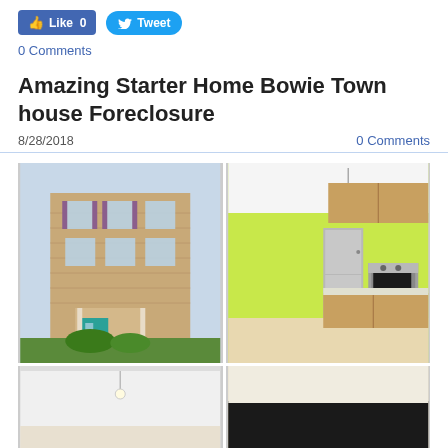[Figure (other): Facebook Like button showing 0 likes and Twitter Tweet button]
0 Comments
Amazing Starter Home Bowie Town house Foreclosure
8/28/2018
0 Comments
[Figure (photo): Exterior of brick townhouse with teal front door and landscaping]
[Figure (photo): Interior kitchen/dining area with bright green accent wall, stainless appliances, wood cabinets]
[Figure (photo): Interior room, partial view, white walls]
[Figure (photo): Interior room, dark countertop visible]